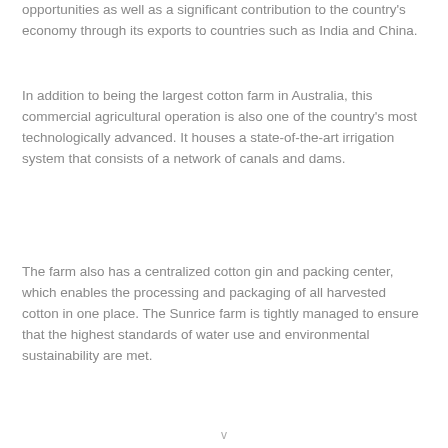opportunities as well as a significant contribution to the country's economy through its exports to countries such as India and China.
In addition to being the largest cotton farm in Australia, this commercial agricultural operation is also one of the country's most technologically advanced. It houses a state-of-the-art irrigation system that consists of a network of canals and dams.
The farm also has a centralized cotton gin and packing center, which enables the processing and packaging of all harvested cotton in one place. The Sunrice farm is tightly managed to ensure that the highest standards of water use and environmental sustainability are met.
v